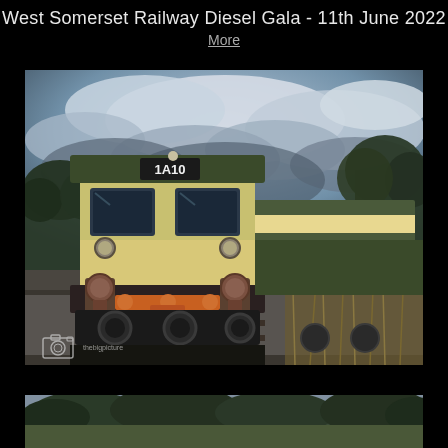West Somerset Railway Diesel Gala - 11th June 2022
More
[Figure (photo): A British Railways Class 31 diesel locomotive in green and cream livery with headcode 1A10, photographed from a low angle on a track with ballast, trees and dramatic cloudy sky in the background. A watermark/camera logo is visible in the bottom left corner.]
[Figure (photo): Partial view of a second railway photograph showing trees and landscape, cropped at the bottom of the page.]